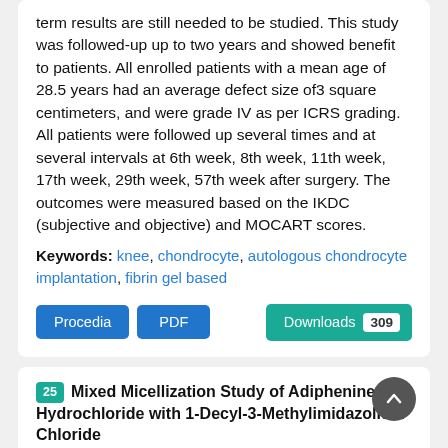term results are still needed to be studied. This study was followed-up up to two years and showed benefit to patients. All enrolled patients with a mean age of 28.5 years had an average defect size of3 square centimeters, and were grade IV as per ICRS grading. All patients were followed up several times and at several intervals at 6th week, 8th week, 11th week, 17th week, 29th week, 57th week after surgery. The outcomes were measured based on the IKDC (subjective and objective) and MOCART scores.
Keywords: knee, chondrocyte, autologous chondrocyte implantation, fibrin gel based
Procedia | PDF | Downloads 309
25 Mixed Micellization Study of Adiphenine Hydrochloride with 1-Decyl-3-Methylimidazolium Chloride